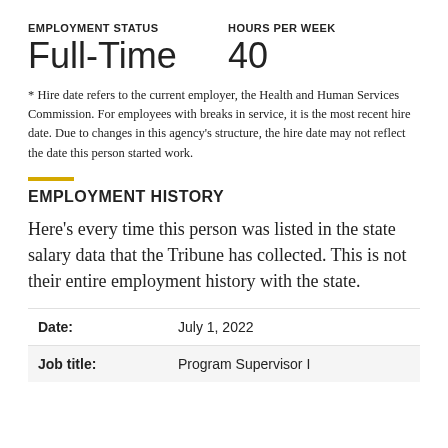EMPLOYMENT STATUS
HOURS PER WEEK
Full-Time
40
* Hire date refers to the current employer, the Health and Human Services Commission. For employees with breaks in service, it is the most recent hire date. Due to changes in this agency’s structure, the hire date may not reflect the date this person started work.
EMPLOYMENT HISTORY
Here’s every time this person was listed in the state salary data that the Tribune has collected. This is not their entire employment history with the state.
| Field | Value |
| --- | --- |
| Date: | July 1, 2022 |
| Job title: | Program Supervisor I |